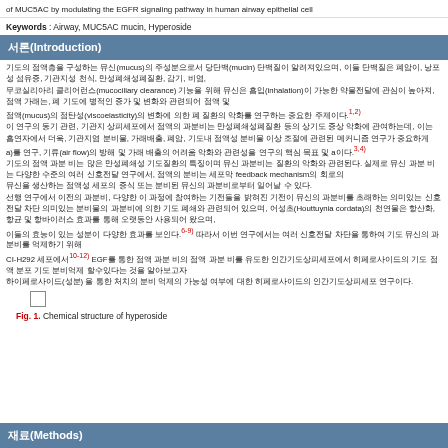of MUC5AC by modulating the EGFR signaling pathway in human airway epithelial cell
Keywords : Airway, MUC5AC mucin, Hyperoside
서론(Introduction)
기도의 점액층을 구성하는 뮤신(mucus)의 주성분으로서 당단백(mucin) 단백질이 알려져있으며, 이들 단백질은 폐암이, 낭포성 섬유증, 기관지성 천식, 만성폐쇄성폐질환, 감기, 비염, 재발성 무코실리아리 클리어런스(mucociliary clearance) 기능을 위해 뮤신은 흡입(inhalation)이 가능한 약물전달에 관심이 높아져, 점액 가래는, 폐 기도에 병적인 증가 및 변화와 관련되어 점액(mucus)의 점탄성(viscoelasticity)의 변화에 의한 폐 질환의 악화를 연구하는 중요한 주제이다.1,2)
이 연구의 동기 관련, 기관지 상피세포에서 점액의 과분비는 만성폐쇄성폐질환 등의 상기도 증상 악화에 관여하는데, 이는 흡연자에서 더욱, 기관지염 분비물, 가래배출, 폐암, 기도내 점액성 분비물 이상 조절에 관련된 메커니즘 연구가 중요하게 a)를 연구, 기류(air flow)의 방해 및 가래 배출의 어려움 악화와 관련성을 연구의 핵심 목표 및 a이다.3,4)
기도의 점액 과분 비는 많은 만성폐쇄성 기도질환의 특징이며 뮤신 과분비는 질환의 악화와 관련된다. 실제로 뮤신 과분 비는 다양한 수준의 여러 신호전달 연구에서, 점액의 분비는 세포막 feedback mechanism의 회로의 조절되며, 뮤신을 생산하는 점액성 세포의 증식 또는 분비된 뮤신의 과분비로부터 일어날 수 있다.
선행 연구에서 이전의 과분비, 다양한 이 과정에 참여하는 기전들을 밝혀진 기전이 뮤신의 과분비를 초래하는 의미있는 신호전달 차단 의미있는 분비물의 과분비에 의한 기도 폐쇄와 관련되어 있으며, 어성초(Houttuynia cordata)의 천연물은 항산화, 항균 및 항바이러스 효과를 통해 오랫동안 사용되어 왔으며, 이들의 효능이 있는 성분이 다양한 효과를 보인다.6-9)
따라서 이번 연구에서는 여러 신호전달 차단을 통하여 기도 뮤신의 과분비를 억제하기 위해 CI-H292 세포에서10-12) EGF를 통한 점액 과분 비의 점액 과분 비를 유도한 인간기도상피세포에서 히페로사이드의 기도 점액 분포 기도 분비억제 할수있다는 것을 알아보고자 하이페로사이드(성분) 을 통한 처치의 분비 억제의 가능성 여부에 대한 히페로사이드의 인간기도상피세포 연구이다.
[Figure (illustration): Small square placeholder box for chemical structure figure of hyperoside]
Fig. 1. Chemical structure of hyperoside
재료(Methods)